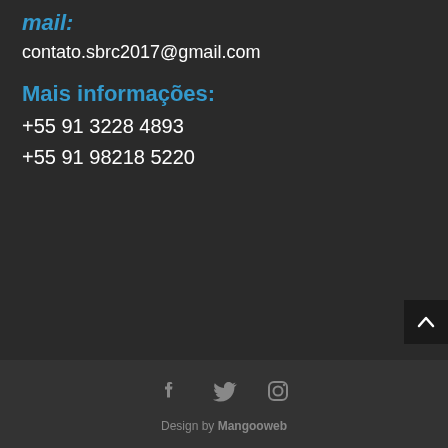mail:
contato.sbrc2017@gmail.com
Mais informações:
+55 91 3228 4893
+55 91 98218 5220
[Figure (other): Back to top button with upward chevron arrow]
[Figure (other): Social media icons: Facebook, Twitter, Instagram]
Design by Mangooweb